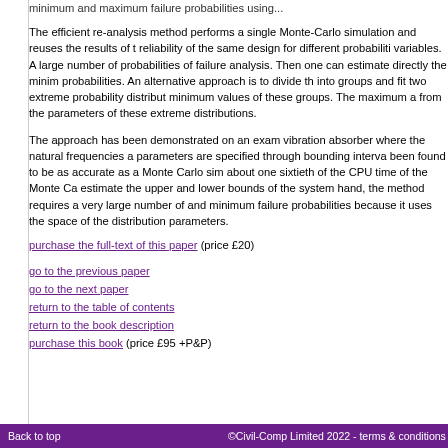minimum and maximum failure probabilities using...
The efficient re-analysis method performs a single Monte-Carlo simulation and reuses the results of the reliability of the same design for different probabilities variables. A large number of probabilities of failure analysis. Then one can estimate directly the minimum probabilities. An alternative approach is to divide the into groups and fit two extreme probability distributions minimum values of these groups. The maximum and from the parameters of these extreme distributions.
The approach has been demonstrated on an example vibration absorber where the natural frequencies and parameters are specified through bounding intervals. It has been found to be as accurate as a Monte Carlo simulation about one sixtieth of the CPU time of the Monte Carlo estimate the upper and lower bounds of the system. On the other hand, the method requires a very large number of and minimum failure probabilities because it uses the space of the distribution parameters.
purchase the full-text of this paper (price £20)
go to the previous paper
go to the next paper
return to the table of contents
return to the book description
purchase this book (price £95 +P&P)
Back to top | ©Civil-Comp Limited 2022 - terms & conditions